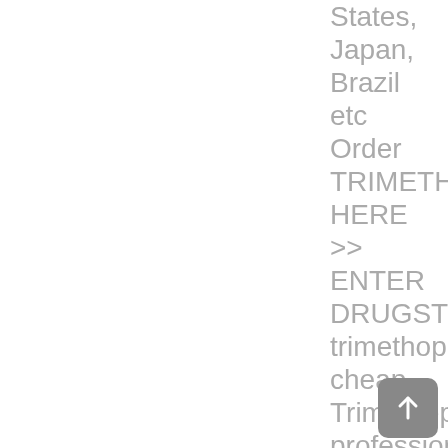States, Japan, Brazil etc Order TRIMETHOPRI HERE &gt;&gt; ENTER DRUGSTORE trimethoprim cheap Trimethoprim professional Weather sensitivity headaches is usually because there is a vegetative